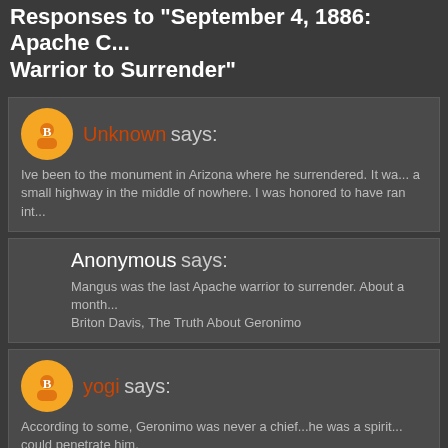Responses to "September 4, 1886: Apache Chief Last Warrior to Surrender"
Unknown says:
Ive been to the monument in Arizona where he surrendered. It wa... a small highway in the middle of nowhere. I was honored to have ran int...
Anonymous says:
Mangus was the last Apache warrior to surrender. About a month... Briton Davis, The Truth About Geronimo
yogi says:
According to some, Geronimo was never a chief...he was a spirit... could penetrate him.
castro4art says:
Full Respect for ever !